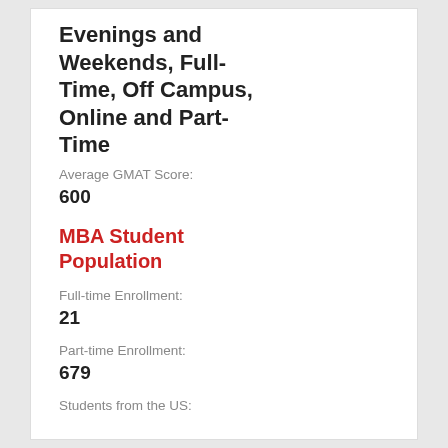Evenings and Weekends, Full-Time, Off Campus, Online and Part-Time
Average GMAT Score:
600
MBA Student Population
Full-time Enrollment:
21
Part-time Enrollment:
679
Students from the US: